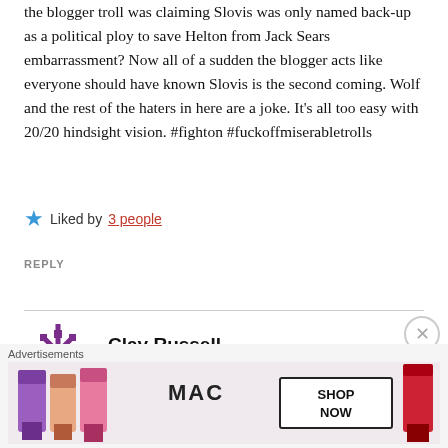the blogger troll was claiming Slovis was only named back-up as a political ploy to save Helton from Jack Sears embarrassment? Now all of a sudden the blogger acts like everyone should have known Slovis is the second coming. Wolf and the rest of the haters in here are a joke. It's all too easy with 20/20 hindsight vision. #fighton #fuckoffmiserabletrolls
★ Liked by 3 people
REPLY
[Figure (illustration): Purple decorative snowflake/geometric avatar icon for user Clay Russell]
Clay Russell
SEPTEMBER 3, 2019 AT 9:49 AM
[Figure (photo): MAC cosmetics advertisement showing lipsticks with SHOP NOW button]